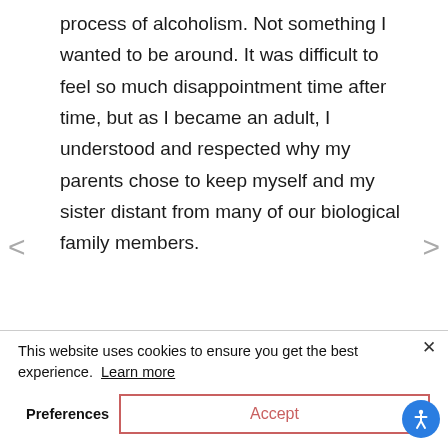process of alcoholism. Not something I wanted to be around. It was difficult to feel so much disappointment time after time, but as I became an adult, I understood and respected why my parents chose to keep myself and my sister distant from many of our biological family members.
So, where did all of this
This website uses cookies to ensure you get the best experience.  Learn more
generation. My sister and I have been